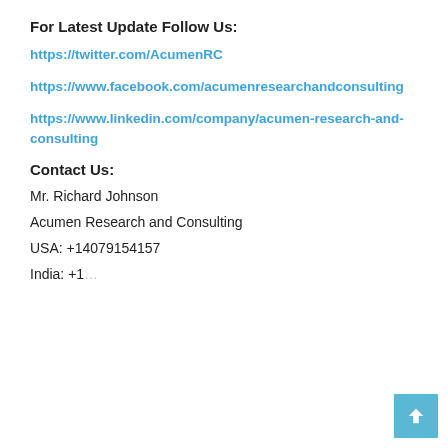For Latest Update Follow Us:
https://twitter.com/AcumenRC
https://www.facebook.com/acumenresearchandconsulting
https://www.linkedin.com/company/acumen-research-and-consulting
Contact Us:
Mr. Richard Johnson
Acumen Research and Consulting
USA: +14079154157
India: +1...